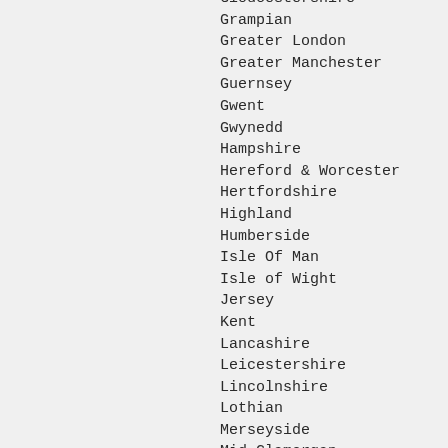Gloucestershire
Grampian
Greater London
Greater Manchester
Guernsey
Gwent
Gwynedd
Hampshire
Hereford & Worcester
Hertfordshire
Highland
Humberside
Isle Of Man
Isle of Wight
Jersey
Kent
Lancashire
Leicestershire
Lincolnshire
Lothian
Merseyside
Mid Glamorgan
Middlesex
Norfolk
North Yorkshire
Northamptonshire